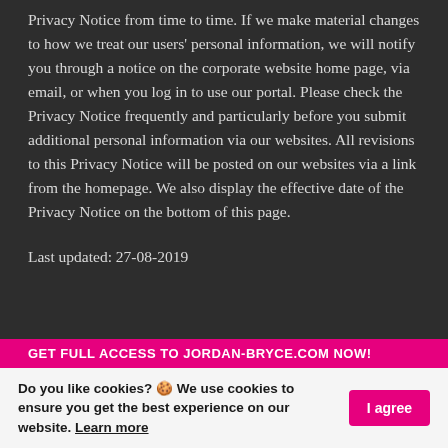Privacy Notice from time to time. If we make material changes to how we treat our users' personal information, we will notify you through a notice on the corporate website home page, via email, or when you log in to use our portal. Please check the Privacy Notice frequently and particularly before you submit additional personal information via our websites. All revisions to this Privacy Notice will be posted on our websites via a link from the homepage. We also display the effective date of the Privacy Notice on the bottom of this page.
Last updated: 27-08-2019
GET FULL ACCESS TO JORDAN-BRYCE.COM NOW!
Do you like cookies? 🍪 We use cookies to ensure you get the best experience on our website. Learn more